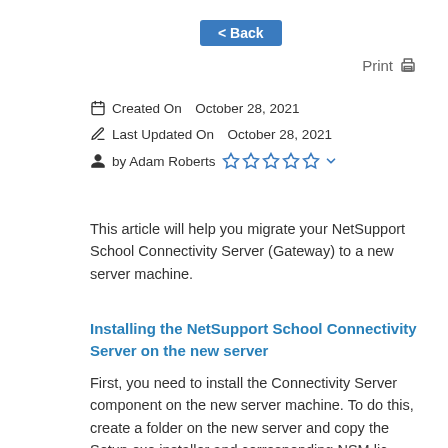< Back
Print
Created On  October 28, 2021
Last Updated On  October 28, 2021
by Adam Roberts
This article will help you migrate your NetSupport School Connectivity Server (Gateway) to a new server machine.
Installing the NetSupport School Connectivity Server on the new server
First, you need to install the Connectivity Server component on the new server machine. To do this, create a folder on the new server and copy the Setup.exe installer and corresponding NSM.lic licence file into it. Run